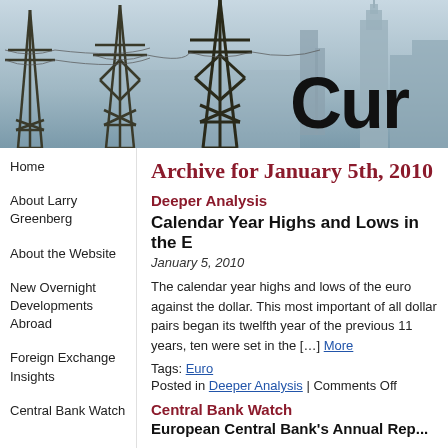[Figure (photo): Header image showing electrical power line towers with city skyline in background, partially visible text 'Cur' in large bold black letters on the right]
Archive for January 5th, 2010
Deeper Analysis
Calendar Year Highs and Lows in the E
January 5, 2010
The calendar year highs and lows of the euro against the dollar. This most important of all dollar pairs began its twelfth year of the previous 11 years, ten were set in the […] More
Tags: Euro
Posted in Deeper Analysis | Comments Off
Central Bank Watch
Home
About Larry Greenberg
About the Website
New Overnight Developments Abroad
Foreign Exchange Insights
Central Bank Watch